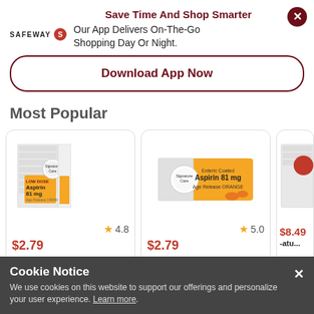Save Time And Shop Smarter
Our App Delivers On-The-Go Shopping Day Or Night.
Download App Now
Most Popular
[Figure (photo): Signature Care Aspirin 81mg Low Dose product box - first product card with rating 4.8 and price $2.79]
[Figure (photo): Signature Care Aspirin 81mg product box - second product card with rating 5.0 and price $2.79]
[Figure (photo): Partially visible third product card with price $8.49]
Cookie Notice
We use cookies on this website to support our offerings and personalize your user experience. Learn more.